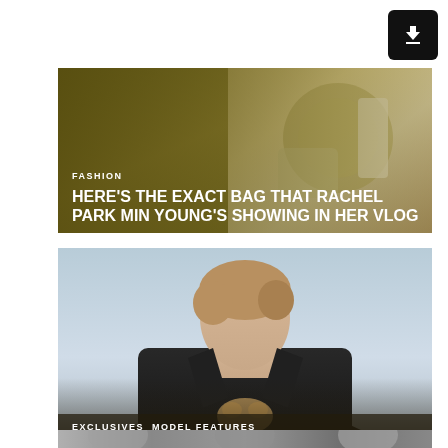[Figure (other): Black download button with downward arrow icon, top right corner]
[Figure (photo): Fashion article card with olive/gold background showing a bag photo. Category label FASHION and headline: HERE'S THE EXACT BAG THAT RACHEL PARK MIN YOUNG'S SHOWING IN HER VLOG]
FASHION
HERE'S THE EXACT BAG THAT RACHEL PARK MIN YOUNG'S SHOWING IN HER VLOG
[Figure (photo): Model feature card showing a young male model in a black leather jacket holding a puppy, with light blue sky background. Overlaid with category labels EXCLUSIVES and MODEL FEATURES, and headline MODEL FEATURE: HAGEN RICHTER]
EXCLUSIVES   MODEL FEATURES
MODEL FEATURE: HAGEN RICHTER
[Figure (photo): Partial view of a black and white photo strip showing multiple male model portraits]